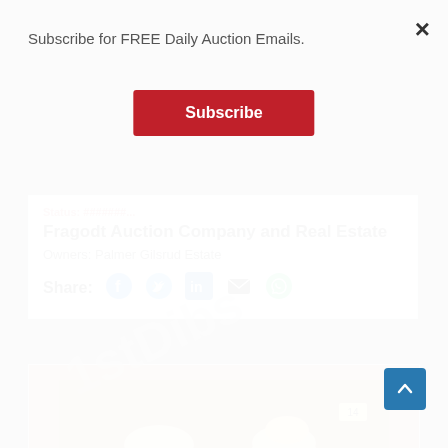Subscribe for FREE Daily Auction Emails.
Subscribe
Fragodt Auction Company and Real Estate
Owners: Palmer Gilsrud Estate
Share:
[Figure (photo): Two ceramic pitchers/creamers with apple motif decoration in a cardboard box, being held by a hand]
×